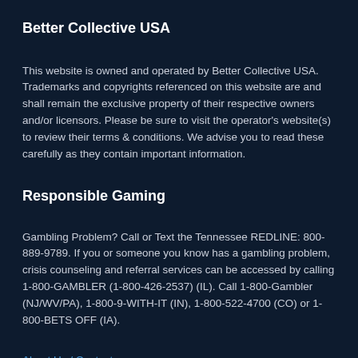Better Collective USA
This website is owned and operated by Better Collective USA. Trademarks and copyrights referenced on this website are and shall remain the exclusive property of their respective owners and/or licensors. Please be sure to visit the operator's website(s) to review their terms & conditions. We advise you to read these carefully as they contain important information.
Responsible Gaming
Gambling Problem? Call or Text the Tennessee REDLINE: 800-889-9789. If you or someone you know has a gambling problem, crisis counseling and referral services can be accessed by calling 1-800-GAMBLER (1-800-426-2537) (IL). Call 1-800-Gambler (NJ/WV/PA), 1-800-9-WITH-IT (IN), 1-800-522-4700 (CO) or 1-800-BETS OFF (IA).
About Us / Contact
Privacy Policy